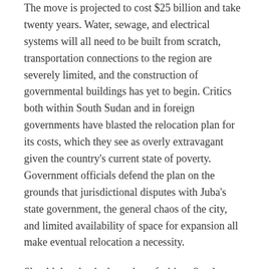The move is projected to cost $25 billion and take twenty years. Water, sewage, and electrical systems will all need to be built from scratch, transportation connections to the region are severely limited, and the construction of governmental buildings has yet to begin. Critics both within South Sudan and in foreign governments have blasted the relocation plan for its costs, which they see as overly extravagant given the country's current state of poverty. Government officials defend the plan on the grounds that jurisdictional disputes with Juba's state government, the general chaos of the city, and limited availability of space for expansion all make eventual relocation a necessity.
Should the plan be brought to fruition, South Sudan will become the latest addition to the ranks of countries with purpose-built capital cities. Most such cities are based on sterile designs full of wide-open spaces and monumental architecture that might look good from a bird's eye view, but which tend to be forbidding on the ground, as is the case with Myanmar's Naypyidaw and Brazil's Brasilia. Detailed plans for the new city are difficult to find, but if photos taken of model versions of the city are any indication, Ramciel promises to be another aspirational addition to this genre of architecture and city